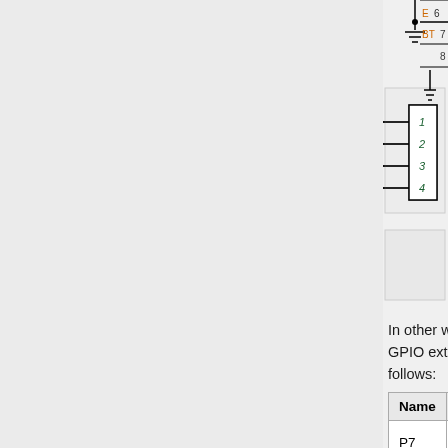[Figure (engineering-diagram): Partial schematic diagram showing a 4-pin connector component with pins labeled 1, 2, 3, 4 connected to lines on the left side. Above it is a ground symbol. Top right shows a partial table/component with rows labeled E (pin 6), BT (pin 7), pin 8, and a ground symbol.]
In other words, the 8 bits of the GPIO extender is mapped as follows:
| Name | Function | Description |
| --- | --- | --- |
| P7 | D7 | MSB of data |
| P6 | D6 |  |
| P5 | D5 |  |
| P4 | D4 |  |
| P3 | BT | Backlight control |